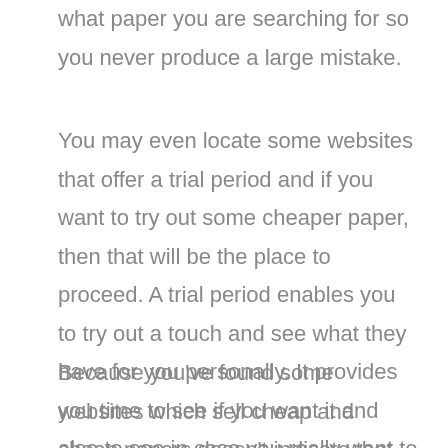what paper you are searching for so you never produce a large mistake.
You may even locate some websites that offer a trial period and if you want to try out some cheaper paper, then that will be the place to proceed. A trial period enables you to try out a touch and see what they have for you personally. It provides you time to see if you want it and also to see in case you really want to get it or not believe.
Because you've found some websites which sell cheap and cheap papers doesn't indicate that the grade is